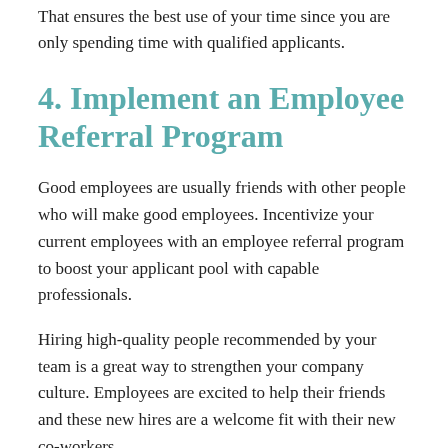That ensures the best use of your time since you are only spending time with qualified applicants.
4. Implement an Employee Referral Program
Good employees are usually friends with other people who will make good employees. Incentivize your current employees with an employee referral program to boost your applicant pool with capable professionals.
Hiring high-quality people recommended by your team is a great way to strengthen your company culture. Employees are excited to help their friends and these new hires are a welcome fit with their new co-workers.